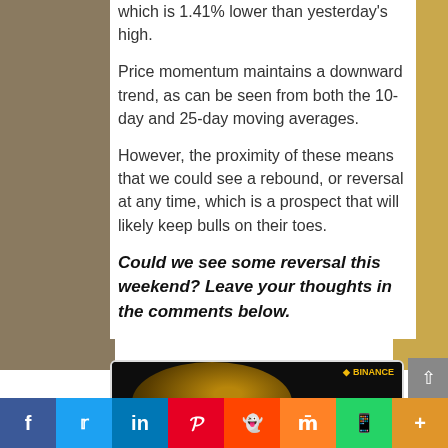which is 1.41% lower than yesterday's high.
Price momentum maintains a downward trend, as can be seen from both the 10-day and 25-day moving averages.
However, the proximity of these means that we could see a rebound, or reversal at any time, which is a prospect that will likely keep bulls on their toes.
Could we see some reversal this weekend? Leave your thoughts in the comments below.
[Figure (photo): Binance advertisement banner with globe graphic, THE BINANCE text, Binance logo, and Bitcoin icon]
f  Twitter  in  Pinterest  Reddit  Mix  WhatsApp  More social share buttons